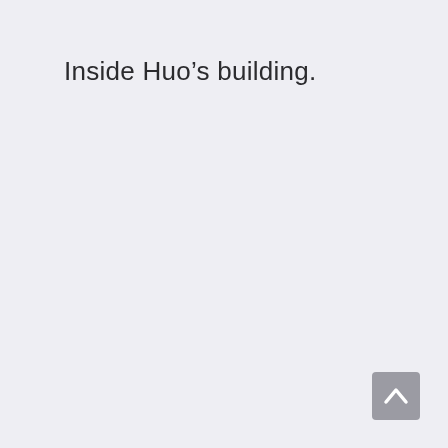Inside Huo’s building.
[Figure (other): A scroll-to-top button with a chevron/arrow pointing upward, grey rounded rectangle, positioned at the bottom-right corner of the page.]